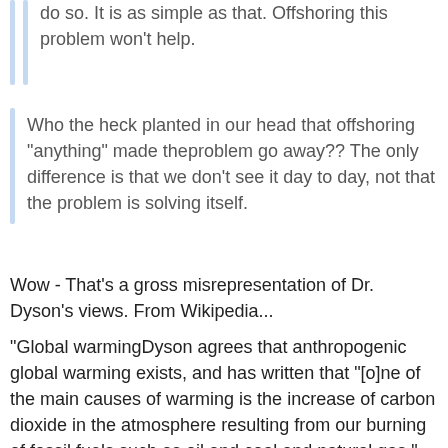do so. It is as simple as that. Offshoring this problem won't help.
Who the heck planted in our head that offshoring "anything" made theproblem go away?? The only difference is that we don't see it day to day, not that the problem is solving itself.
Wow - That's a gross misrepresentation of Dr. Dyson's views. From Wikipedia...
"Global warmingDyson agrees that anthropogenic global warming exists, and has written that "[o]ne of the main causes of warming is the increase of carbon dioxide in the atmosphere resulting from our burning of fossil fuels such as oil and coal and natural gas."[22] However, he has argued that existing simulation models of climate fail to account for some important factors, and hence the results will not state as accurate as stated by a list of facts...